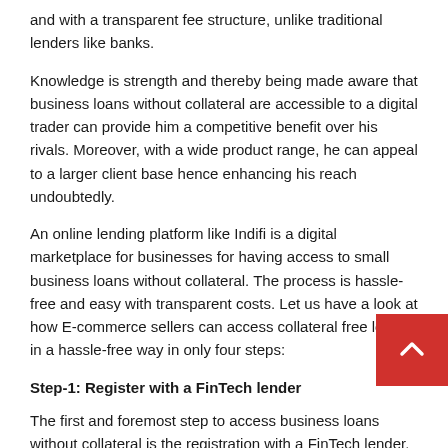and with a transparent fee structure, unlike traditional lenders like banks.
Knowledge is strength and thereby being made aware that business loans without collateral are accessible to a digital trader can provide him a competitive benefit over his rivals. Moreover, with a wide product range, he can appeal to a larger client base hence enhancing his reach undoubtedly.
An online lending platform like Indifi is a digital marketplace for businesses for having access to small business loans without collateral. The process is hassle-free and easy with transparent costs. Let us have a look at how E-commerce sellers can access collateral free loans in a hassle-free way in only four steps:
Step-1: Register with a FinTech lender
The first and foremost step to access business loans without collateral is the registration with a FinTech lender.